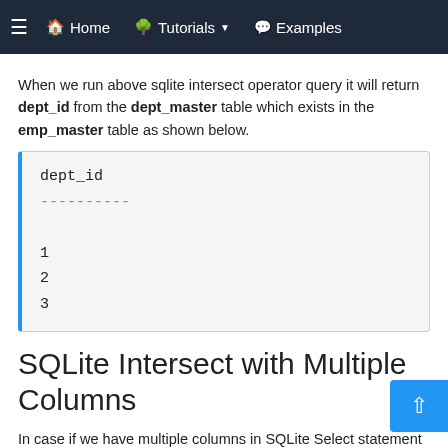≡  🏠 Home    🌲 Tutorials ▾    💬 Examples
When we run above sqlite intersect operator query it will return dept_id from the dept_master table which exists in the emp_master table as shown below.
| dept_id |
| --- |
| ---------- |
| 1 |
| 2 |
| 3 |
SQLite Intersect with Multiple Columns
In case if we have multiple columns in SQLite Select statement then the Intersect operator will use all the columns of the first Select statement to compare values with the second Select statement.